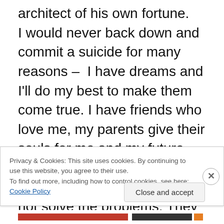architect of his own fortune.
I would never back down and commit a suicide for many reasons – I have dreams and I'll do my best to make them come true. I have friends who love me, my parents give their souls for me and my future and suicide would be a betraying. Killing myself will not solve the problems. They will still exist, but they will no longer be mine, but friends, loved ones, family and even people who you barely know will still feel it. For me life is a gift and I don't have the right to end it. I have seen situations of suicide and the domino effect after it. I had a neighbor, Davan, who was wasting
Privacy & Cookies: This site uses cookies. By continuing to use this website, you agree to their use.
To find out more, including how to control cookies, see here: Cookie Policy
Close and accept